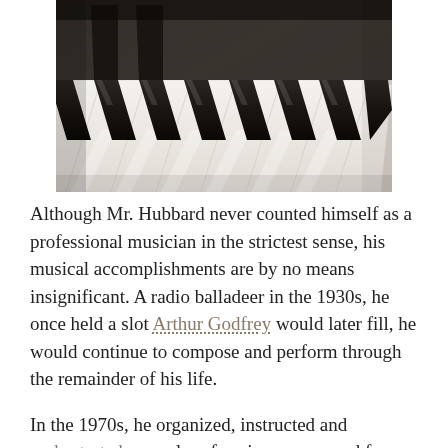[Figure (photo): Close-up photograph of piano keys, showing black and white keys at an angle, with shallow depth of field creating a blurred perspective.]
Although Mr. Hubbard never counted himself as a professional musician in the strictest sense, his musical accomplishments are by no means insignificant. A radio balladeer in the 1930s, he once held a slot Arthur Godfrey would later fill, he would continue to compose and perform through the remainder of his life.
In the 1970s, he organized, instructed and orchestrated several performing groups and from